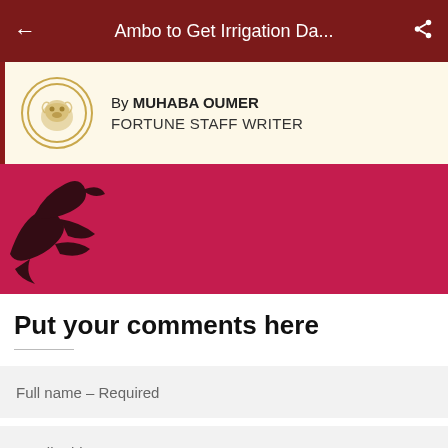Ambo to Get Irrigation Da...
By MUHABA OUMER
FORTUNE STAFF WRITER
[Figure (photo): Dark red/crimson banner image with a partial silhouette of a bird/eagle on the left side]
Put your comments here
N.B: A submit button will appear once you fill out all the required fields.
Full name – Required
Email address